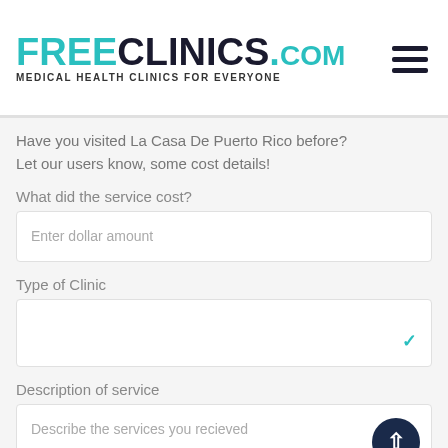FREECLINICS.COM Medical Health Clinics For Everyone
Have you visited La Casa De Puerto Rico before?
Let our users know, some cost details!
What did the service cost?
Enter dollar amount
Type of Clinic
Description of service
Describe the services you recieved